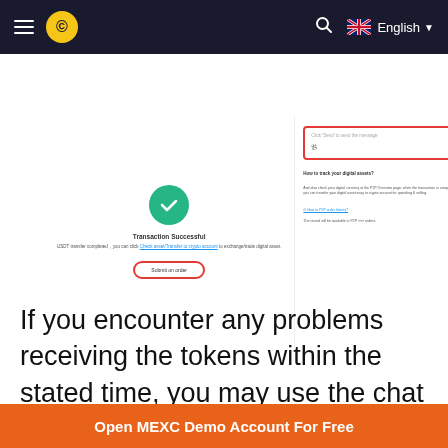≡ © [logo] | 🔍 🇬🇧 English ▼
[Figure (screenshot): Screenshot of a cryptocurrency exchange interface showing a 'Transaction Successful' confirmation on the left with a green checkmark circle, text 'Transaction Successful', description about USDT transfer completion with a link to 'Check asset/Transfer to crypto account to exchange/trade digital asset', and a red-outlined 'Submit on order' button. On the right is a chat panel with a red-outlined text input box with placeholder text and a 'Send' button, plus FAQ content about tracking digital assets and order history.]
If you encounter any problems receiving the tokens within the stated time, you may use the chat function on the right to contact the other party.
Open MEXC Demo Account For Free